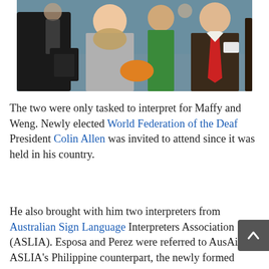[Figure (photo): Group of people gathered together at an event; a woman in a scarf and a man in a suit with a red tie are prominent in the foreground.]
The two were only tasked to interpret for Maffy and Weng. Newly elected World Federation of the Deaf President Colin Allen was invited to attend since it was held in his country.
He also brought with him two interpreters from Australian Sign Language Interpreters Association (ASLIA). Esposa and Perez were referred to AusAid by ASLIA's Philippine counterpart, the newly formed